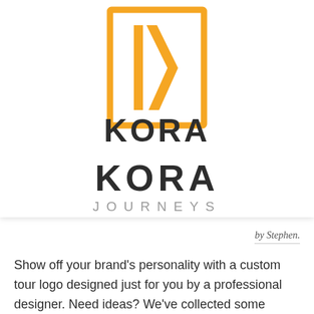[Figure (logo): Kora Journeys logo: orange rectangular border enclosing stylized IK lettermark, with 'KORA' in bold dark text and 'JOURNEYS' in grey spaced text below]
by Stephen.
Show off your brand's personality with a custom tour logo designed just for you by a professional designer. Need ideas? We've collected some